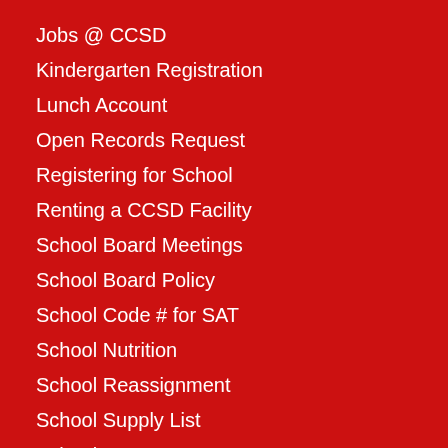Jobs @ CCSD
Kindergarten Registration
Lunch Account
Open Records Request
Registering for School
Renting a CCSD Facility
School Board Meetings
School Board Policy
School Code # for SAT
School Nutrition
School Reassignment
School Supply List
School Zones
Special Ed Evaluation
Standards & Curriculum
STEM Academies
Student Recognition